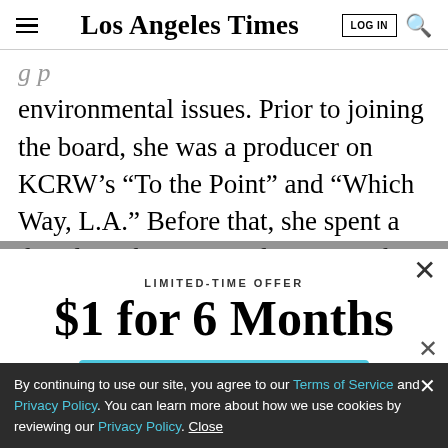Los Angeles Times
environmental issues. Prior to joining the board, she was a producer on KCRW’s “To the Point” and “Which Way, L.A.” Before that, she spent a decade at the L.A. Daily News, where she covered L.A. and California politics and wrote a column on local government issues. She’s a
LIMITED-TIME OFFER
$1 for 6 Months
SUBSCRIBE NOW
By continuing to use our site, you agree to our Terms of Service and Privacy Policy. You can learn more about how we use cookies by reviewing our Privacy Policy. Close